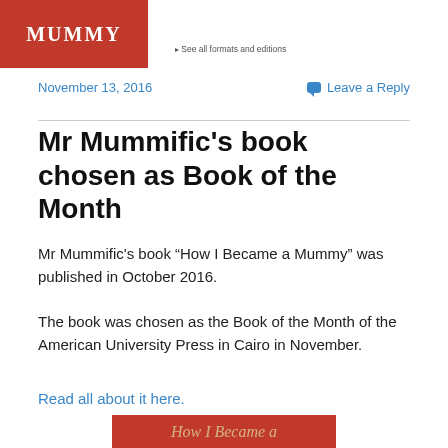[Figure (photo): Top portion of a red book cover showing 'MUMMY' text in white serif letters on a dark red/orange background, and a small 'See all formats and editions' link to the right]
November 13, 2016
Leave a Reply
Mr Mummific’s book chosen as Book of the Month
Mr Mummific’s book “How I Became a Mummy” was published in October 2016.
The book was chosen as the Book of the Month of the American University Press in Cairo in November.
Read all about it here.
[Figure (photo): Bottom portion of a red book cover showing the text 'How I Became a' in tan/gold italic serif font on a dark red/orange background]